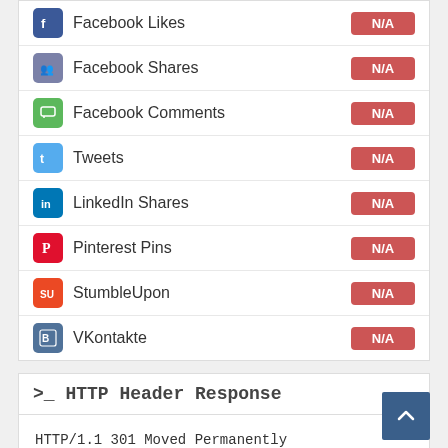Facebook Likes — N/A
Facebook Shares — N/A
Facebook Comments — N/A
Tweets — N/A
LinkedIn Shares — N/A
Pinterest Pins — N/A
StumbleUpon — N/A
VKontakte — N/A
>_ HTTP Header Response
HTTP/1.1 301 Moved Permanently
Date: Thu, 25 Nov 2021 11:10:12 GMT
Server: Apache
Location: https://www.abellarora.com/